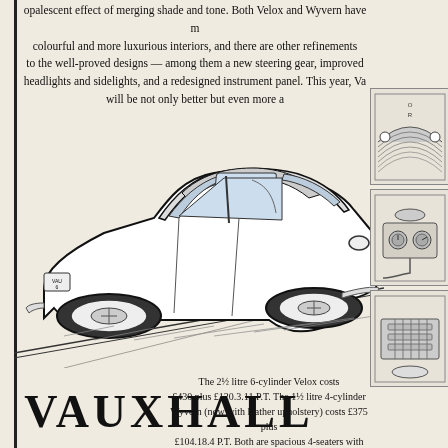opalescent effect of merging shade and tone. Both Velox and Wyvern have more colourful and more luxurious interiors, and there are other refinements to the well-proved designs — among them a new steering gear, improved headlights and sidelights, and a redesigned instrument panel. This year, Va will be not only better but even more a
[Figure (illustration): Detailed pen-and-ink illustration of a 1950s Vauxhall Velox/Wyvern saloon car, shown from a three-quarter rear perspective, with a diagonal ground line beneath it. The car has a license plate reading 'VAU 6'.]
[Figure (illustration): Small side panel illustration showing a detail of the Vauxhall car interior or exterior, top panel.]
[Figure (illustration): Small side panel illustration showing a detail of the Vauxhall car interior or exterior, middle panel.]
[Figure (illustration): Small side panel illustration showing a detail of the Vauxhall car interior or exterior, bottom panel.]
The 2½ litre 6-cylinder Velox costs £430 plus £120.3.11 P.T. The 1½ litre 4-cylinder Wyvern (now with leather upholstery) costs £375 plus £104.18.4 P.T. Both are spacious 4-seaters with independent front-wheel springing, powerful hydraulic brakes and gear lever mounted on steering column.
VAUXHALL